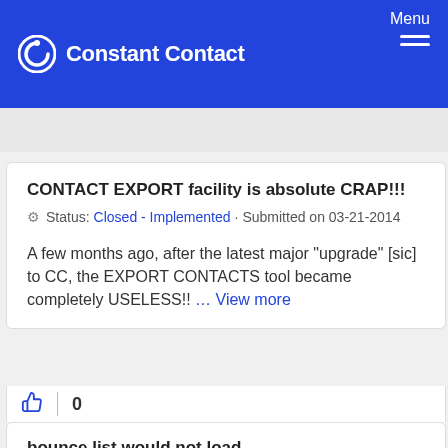Constant Contact — Menu
CONTACT EXPORT facility is absolute CRAP!!!
Status: Closed – Implemented · Submitted on 03-21-2014
A few months ago, after the latest major "upgrade" [sic] to CC, the EXPORT CONTACTS tool became completely USELESS!! … View more
0
bounce list would not load
Status: Closed – Implemented · Submitted on 03-19-2014
could not manage my bounces because program would not load